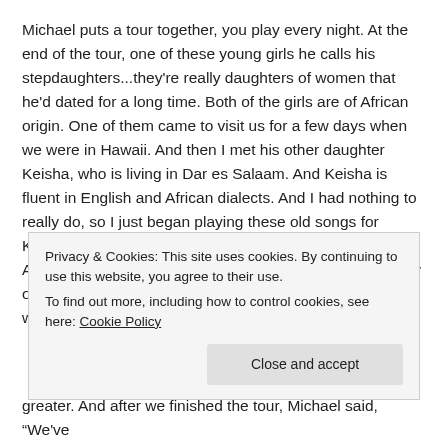Michael puts a tour together, you play every night. At the end of the tour, one of these young girls he calls his stepdaughters...they're really daughters of women that he'd dated for a long time. Both of the girls are of African origin. One of them came to visit us for a few days when we were in Hawaii. And then I met his other daughter Keisha, who is living in Dar es Salaam. And Keisha is fluent in English and African dialects. And I had nothing to really do, so I just began playing these old songs for Keisha, as much to maybe let her hear some of these African cultural and musical influences in some of the very oldest American songs. And while I was playing and we were talking, I was saying, “This what the African...
Privacy & Cookies: This site uses cookies. By continuing to use this website, you agree to their use.
To find out more, including how to control cookies, see here: Cookie Policy
greater. And after we finished the tour, Michael said, “We've